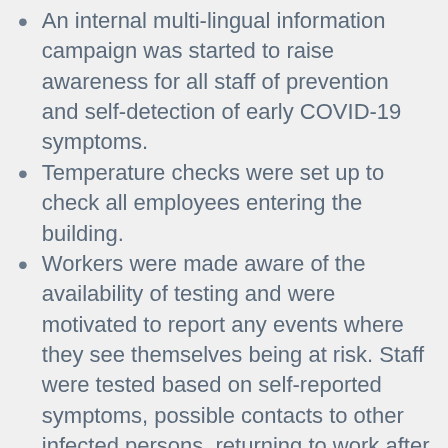An internal multi-lingual information campaign was started to raise awareness for all staff of prevention and self-detection of early COVID-19 symptoms.
Temperature checks were set up to check all employees entering the building.
Workers were made aware of the availability of testing and were motivated to report any events where they see themselves being at risk. Staff were tested based on self-reported symptoms, possible contacts to other infected persons, returning to work after more than 96 hours absence from work, or possible work place contact with infected colleagues.
Work place assessments were performed to see if it was possible to extend distances between workers.